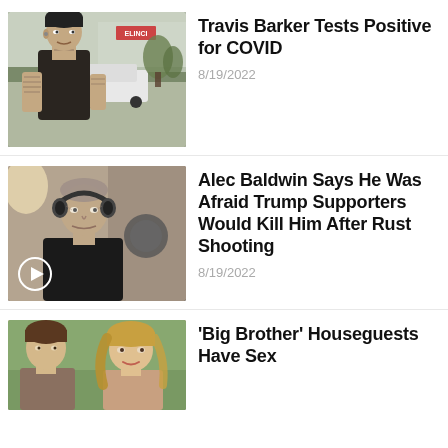[Figure (photo): Tattooed man with black beanie outdoors near a parking lot with white SUV]
Travis Barker Tests Positive for COVID
8/19/2022
[Figure (photo): Older man with headphones in a podcast-style setting, play button overlay]
Alec Baldwin Says He Was Afraid Trump Supporters Would Kill Him After Rust Shooting
8/19/2022
[Figure (photo): Two people, a man and a woman, outdoors]
'Big Brother' Houseguests Have Sex